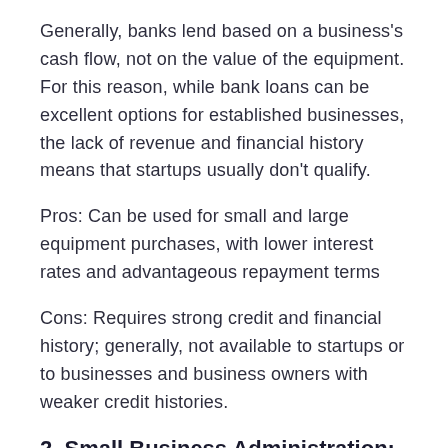Generally, banks lend based on a business's cash flow, not on the value of the equipment. For this reason, while bank loans can be excellent options for established businesses, the lack of revenue and financial history means that startups usually don't qualify.
Pros: Can be used for small and large equipment purchases, with lower interest rates and advantageous repayment terms
Cons: Requires strong credit and financial history; generally, not available to startups or to businesses and business owners with weaker credit histories.
2. Small Business Administration:
The U.S. Small Business Administration (SBA)